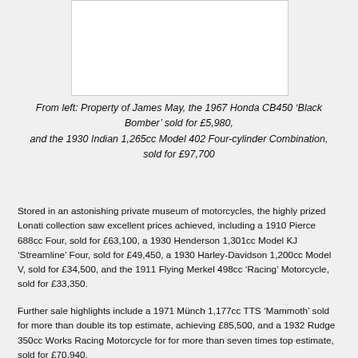[Figure (photo): White rectangular image placeholder area with light border]
From left: Property of James May, the 1967 Honda CB450 ‘Black Bomber’ sold for £5,980, and the 1930 Indian 1,265cc Model 402 Four-cylinder Combination, sold for £97,700
Stored in an astonishing private museum of motorcycles, the highly prized Lonati collection saw excellent prices achieved, including a 1910 Pierce 688cc Four, sold for £63,100, a 1930 Henderson 1,301cc Model KJ ‘Streamline’ Four, sold for £49,450, a 1930 Harley-Davidson 1,200cc Model V, sold for £34,500, and the 1911 Flying Merkel 498cc ‘Racing’ Motorcycle, sold for £33,350.
Further sale highlights include a 1971 Münch 1,177cc TTS ‘Mammoth’ sold for more than double its top estimate, achieving £85,500, and a 1932 Rudge 350cc Works Racing Motorcycle for for more than seven times top estimate, sold for £70,940.